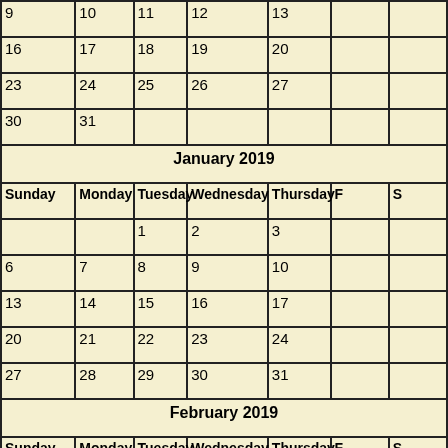| Sunday | Monday | Tuesday | Wednesday | Thursday | Friday | Saturday |
| --- | --- | --- | --- | --- | --- | --- |
| 9 | 10 | 11 | 12 | 13 |  |  |
| 16 | 17 | 18 | 19 | 20 |  |  |
| 23 | 24 | 25 | 26 | 27 |  |  |
| 30 | 31 |  |  |  |  |  |
| Sunday | Monday | Tuesday | Wednesday | Thursday | Friday | Saturday |
| --- | --- | --- | --- | --- | --- | --- |
|  |  | 1 | 2 | 3 |  |  |
| 6 | 7 | 8 | 9 | 10 |  |  |
| 13 | 14 | 15 | 16 | 17 |  |  |
| 20 | 21 | 22 | 23 | 24 |  |  |
| 27 | 28 | 29 | 30 | 31 |  |  |
| Sunday | Monday | Tuesday | Wednesday | Thursday | Friday | Saturday |
| --- | --- | --- | --- | --- | --- | --- |
|  |  |  |  |  |  |  |
| 3 | 4 | 5 | 6 | 7 |  |  |
| 10 | 11 | 12 | 13 | 14 |  |  |
| 17 | 18 | 19 | 20 | 21 |  |  |